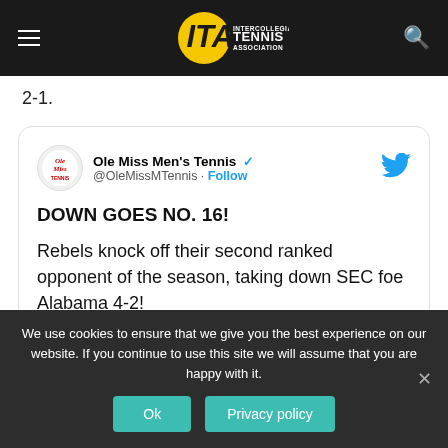ITA Intercollegiate Tennis Association
2-1.
[Figure (screenshot): Tweet from Ole Miss Men's Tennis (@OleMissMTennis): DOWN GOES NO. 16! Rebels knock off their second ranked opponent of the season, taking down SEC foe Alabama 4-2!]
We use cookies to ensure that we give you the best experience on our website. If you continue to use this site we will assume that you are happy with it.